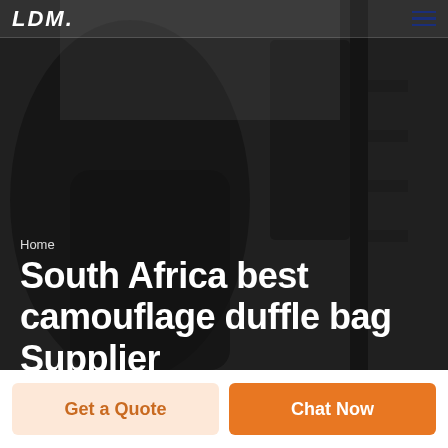LDM [logo] | hamburger menu
[Figure (photo): Dark grayscale background photo showing a person in a gym or training environment, with equipment visible. Dark overlay applied.]
Home
South Africa best camouflage duffle bag Supplier
Get a Quote
Chat Now